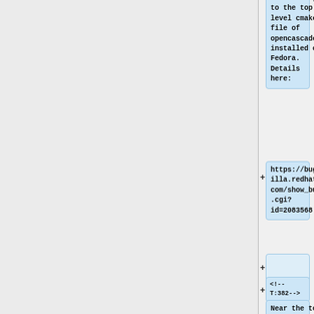minor change to the top level cmake file of opencascade installed on Fedora. Details here:
https://bugzilla.redhat.com/show_bug.cgi?id=2083568.
<!--T:382-->
Near the top of the file